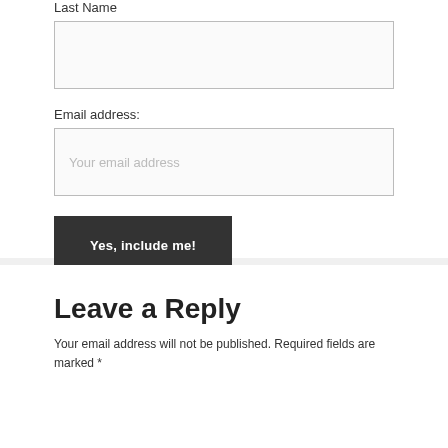Last Name
Email address:
Your email address
Yes, include me!
Leave a Reply
Your email address will not be published. Required fields are marked *